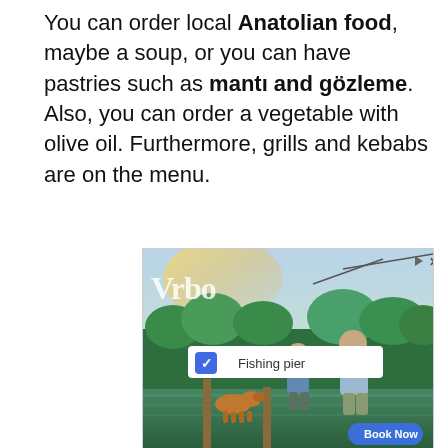You can order local Anatolian food, maybe a soup, or you can have pastries such as mantı and gözleme. Also, you can order a vegetable with olive oil. Furthermore, grills and kebabs are on the menu.
[Figure (photo): Advertisement banner showing two people and a dog fishing at a pier in a wooded area. Contains Vrbo logo text, a checkbox labeled 'Fishing pier', and a 'Book Now' button.]